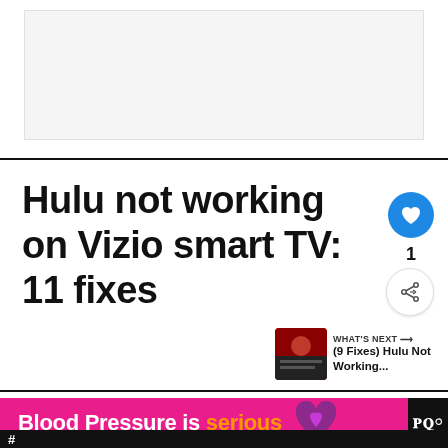[Figure (other): Advertisement placeholder area, light gray background with border]
Hulu not working on Vizio smart TV: 11 fixes
[Figure (infographic): WHAT'S NEXT arrow label with thumbnail image and text '(9 Fixes) Hulu Not Working...']
[Figure (infographic): Ad banner: Blood Pressure is serious with heart icon, on pink and black background]